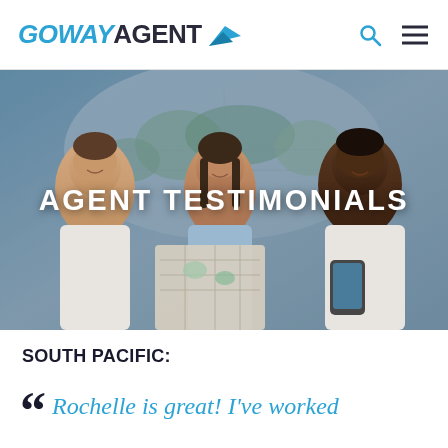GOWAYAGENT
[Figure (photo): Three travel agents smiling and looking at a map together, with a world map in the background]
AGENT TESTIMONIALS
SOUTH PACIFIC:
Rochelle is great! I've worked